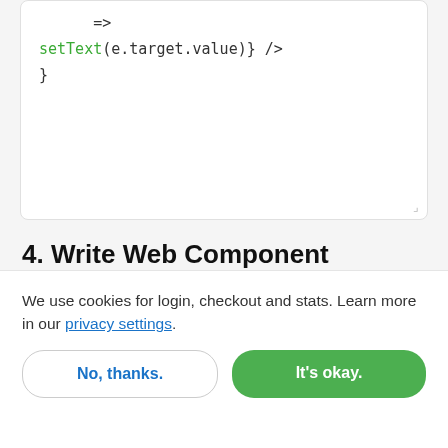[Figure (screenshot): Code editor box showing partial JSX code: onChange={(e) => setText(e.target.value)} onKeyDown={handleSubmit} />
}]
4. Write Web Component Wrapper Around Alien Service #
Create a wrapper component that imports our just
We use cookies for login, checkout and stats. Learn more in our privacy settings.
No, thanks.
It's okay.